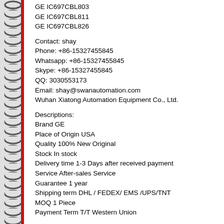GE IC697CBL803
GE IC697CBL811
GE IC697CBL826
Contact: shay
Phone: +86-15327455845
Whatsapp: +86-15327455845
Skype: +86-15327455845
QQ: 3030553173
Email: shay@swanautomation.com
Wuhan Xiatong Automation Equipment Co., Ltd.
Descriptions:
Brand GE
Place of Origin USA
Quality 100% New Original
Stock In stock
Delivery time 1-3 Days after received payment
Service After-sales Service
Guarantee 1 year
Shipping term DHL / FEDEX/ EMS /UPS/TNT
MOQ 1 Piece
Payment Term T/T Western Union
More MAIN BRAND information:
1. USA Rockwell: Allen-Bradley(AB)
ControlLogix 1756 series
CompactLogix 1769 series
SLC 500 1747/1746 series
PLC-5 1771/1785 series